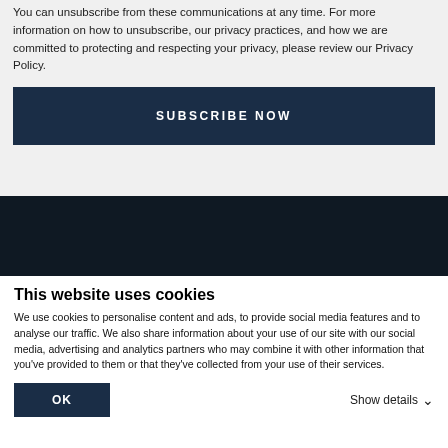You can unsubscribe from these communications at any time. For more information on how to unsubscribe, our privacy practices, and how we are committed to protecting and respecting your privacy, please review our Privacy Policy.
SUBSCRIBE NOW
This website uses cookies
We use cookies to personalise content and ads, to provide social media features and to analyse our traffic. We also share information about your use of our site with our social media, advertising and analytics partners who may combine it with other information that you've provided to them or that they've collected from your use of their services.
OK
Show details